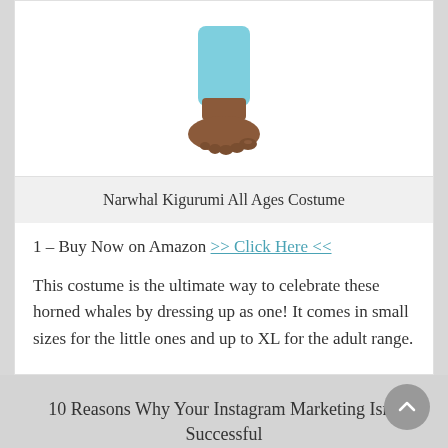[Figure (photo): Bottom portion of a person's foot/leg wearing a light blue costume, bare foot visible]
Narwhal Kigurumi All Ages Costume
1 – Buy Now on Amazon >> Click Here <<
This costume is the ultimate way to celebrate these horned whales by dressing up as one! It comes in small sizes for the little ones and up to XL for the adult range.
10 Reasons Why Your Instagram Marketing Isn't Successful →
← Ten Famous People Who Suffer From Borderline Personality Disorder